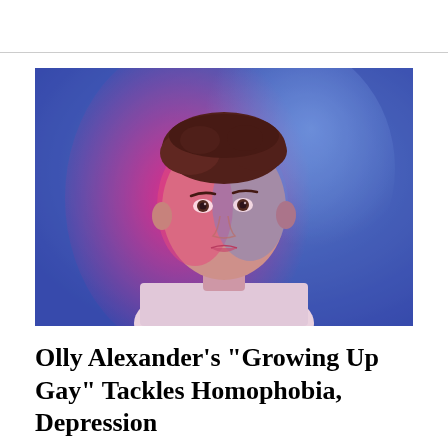[Figure (photo): Portrait of a young man lit with blue and pink/red neon light, wearing a white t-shirt, against a bright blue background. The face is split between cool blue light on one side and warm pink/red light on the other.]
Olly Alexander’s “Growing Up Gay” Tackles Homophobia, Depression